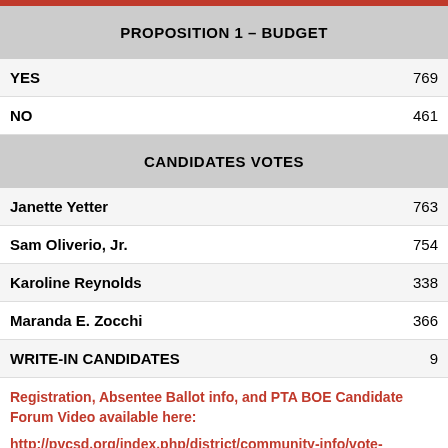PROPOSITION 1 – BUDGET
|  |  |
| --- | --- |
| YES | 769 |
| NO | 461 |
CANDIDATES VOTES
|  |  |
| --- | --- |
| Janette Yetter | 763 |
| Sam Oliverio, Jr. | 754 |
| Karoline Reynolds | 338 |
| Maranda E. Zocchi | 366 |
| WRITE-IN CANDIDATES | 9 |
Registration, Absentee Ballot info, and PTA BOE Candidate Forum Video available here:
http://pvcsd.org/index.php/district/community-info/vote-absentee-ballot/